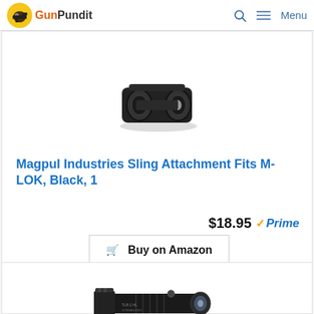GunPundit — Menu
[Figure (photo): Product image of Magpul Industries Sling Attachment M-LOK muzzle device, black metal, multiple ports visible]
Magpul Industries Sling Attachment Fits M-LOK, Black, 1
$18.95 ✓Prime
🛒 Buy on Amazon
BESTSELLER NO. 7
[Figure (photo): Product image of a tactical weapon-mounted flashlight (Streamlight TLR-1 HL), black, with rail mount]